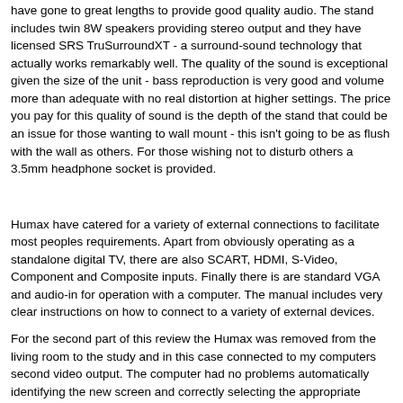have gone to great lengths to provide good quality audio. The stand includes twin 8W speakers providing stereo output and they have licensed SRS TruSurroundXT - a surround-sound technology that actually works remarkably well. The quality of the sound is exceptional given the size of the unit - bass reproduction is very good and volume more than adequate with no real distortion at higher settings. The price you pay for this quality of sound is the depth of the stand that could be an issue for those wanting to wall mount - this isn't going to be as flush with the wall as others. For those wishing not to disturb others a 3.5mm headphone socket is provided.
Humax have catered for a variety of external connections to facilitate most peoples requirements. Apart from obviously operating as a standalone digital TV, there are also SCART, HDMI, S-Video, Component and Composite inputs. Finally there is are standard VGA and audio-in for operation with a computer. The manual includes very clear instructions on how to connect to a variety of external devices.
For the second part of this review the Humax was removed from the living room to the study and in this case connected to my computers second video output. The computer had no problems automatically identifying the new screen and correctly selecting the appropriate resolution (1360x768 at 60Hz). I'm unclear however why the computer resolution is less than the 1440x900 native screen resolution.
A separate 3.5mm input jack allows you to feed computer sound through to